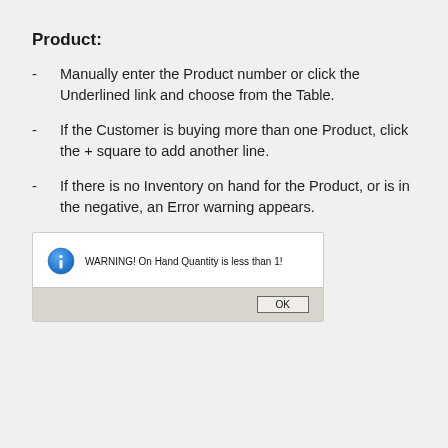Product:
Manually enter the Product number or click the Underlined link and choose from the Table.
If the Customer is buying more than one Product, click the + square to add another line.
If there is no Inventory on hand for the Product, or is in the negative, an Error warning appears.
[Figure (screenshot): A warning dialog box showing a blue information icon and the text 'WARNING! On Hand Quantity is less than 1!' with an OK button at the bottom.]